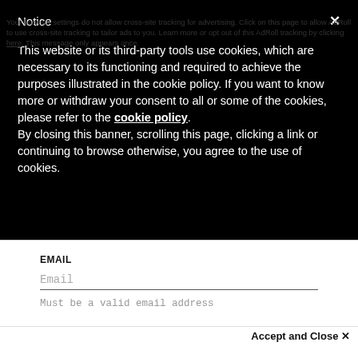Notice
This website or its third-party tools use cookies, which are necessary to its functioning and required to achieve the purposes illustrated in the cookie policy. If you want to know more or withdraw your consent to all or some of the cookies, please refer to the cookie policy. By closing this banner, scrolling this page, clicking a link or continuing to browse otherwise, you agree to the use of cookies.
EMAIL
Email
Must be a valid email address
Accept and Close ✕
Your browser settings do not allow cross-site tracking for advertising. Click on this page to allow AdRoll to use cross-site tracking to tailor ads to you. Learn more or opt out of this AdRoll tracking by clicking here. This message only appears once.